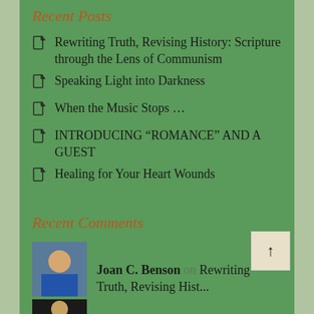Recent Posts
Rewriting Truth, Revising History: Scripture through the Lens of Communism
Speaking Light into Darkness
When the Music Stops …
INTRODUCING “ROMANCE” AND A GUEST
Healing for Your Heart Wounds
Recent Comments
Joan C. Benson on Rewriting Truth, Revising Hist...